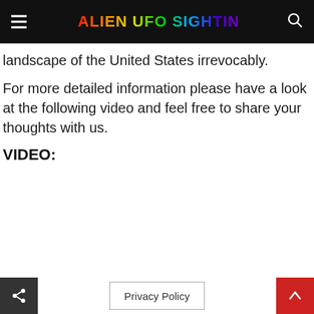ALIEN UFO SIGHTINGS
landscape of the United States irrevocably.
For more detailed information please have a look at the following video and feel free to share your thoughts with us.
VIDEO:
Privacy Policy